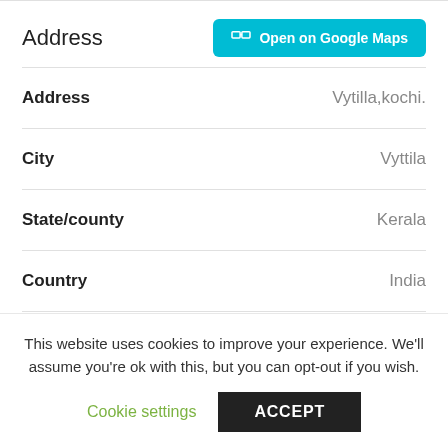Address
| Field | Value |
| --- | --- |
| Address | Vytilla,kochi. |
| City | Vyttila |
| State/county | Kerala |
| Country | India |
This website uses cookies to improve your experience. We'll assume you're ok with this, but you can opt-out if you wish.
Cookie settings
ACCEPT